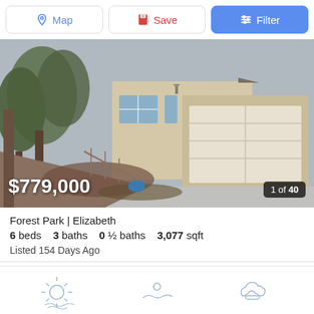[Figure (screenshot): Top navigation bar with Map, Save, and Filter buttons]
[Figure (photo): Exterior photo of a single-story home with two-car garage, pine trees, and gravel/dirt front yard]
$779,000
1 of 40
Forest Park | Elizabeth
6 beds   3 baths   0 ½ baths   3,077 sqft
Listed 154 Days Ago
Listing courtesy of Redfin Corporation: MLS #6825883
[Figure (infographic): Bottom weather/climate icon strip showing sun, cloud, and other weather symbols in light blue outline style]